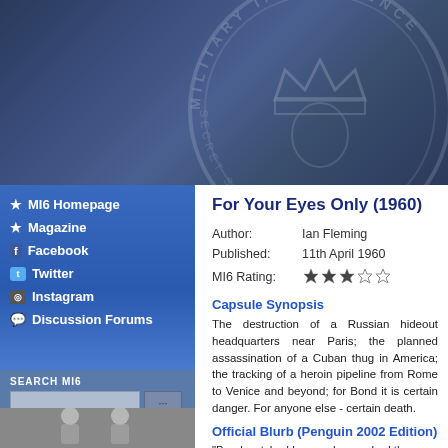[Figure (illustration): MI6 Military Intelligence emblem/seal watermark on dark blue-grey gradient background header]
★ MI6 Homepage
★ Magazine
f Facebook
Twitter
Instagram
Discussion Forums
SEARCH MI6
[Figure (photo): Black and white photo of James Bond actor in tuxedo]
For Your Eyes Only (1960)
Author: Ian Fleming
Published: 11th April 1960
MI6 Rating: ★★★☆☆
Capsule Synopsis
The destruction of a Russian hideout headquarters near Paris; the planned assassination of a Cuban thug in America; the tracking of a heroin pipeline from Rome to Venice and beyond; for Bond it is certain danger. For anyone else - certain death.
Official Blurb (Penguin 2002 Edition)
"Bond watched her as she reached the edge